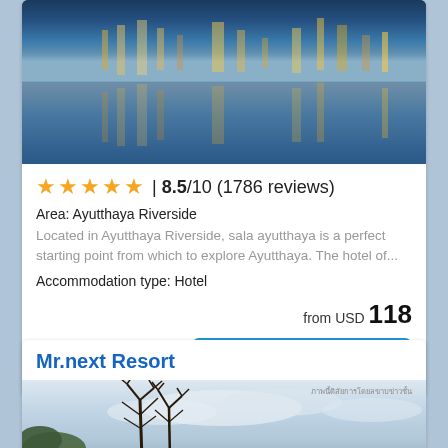[Figure (photo): Hotel riverside photo showing reflections of lights on water at dusk/night, blue tones]
★★★★★ | 8.5/10 (1786 reviews)
Area: Ayutthaya Riverside
Located in Ayutthaya Riverside, sala ayutthaya is a perfect starting point from which to explore Ayutthaya. The hotel of...
Accommodation type: Hotel
from USD 118
more details ...
Mr.next Resort
[Figure (photo): Resort photo showing bare trees against a cloudy sky, with Thai text overlay in top right corner]